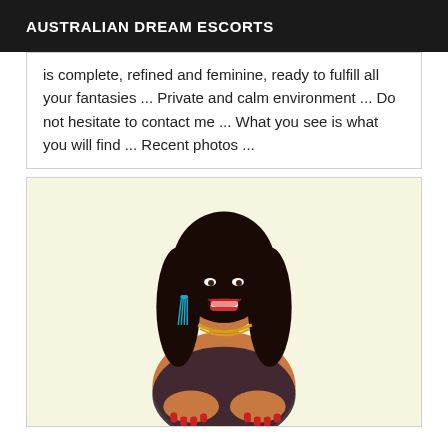AUSTRALIAN DREAM ESCORTS
is complete, refined and feminine, ready to fulfill all your fantasies ... Private and calm environment ... Do not hesitate to contact me ... What you see is what you will find ... Recent photos ...
[Figure (photo): A smiling woman with long dark curly hair, wearing blue tassel earrings, gold necklace, and dark lace top, posing against a light background.]